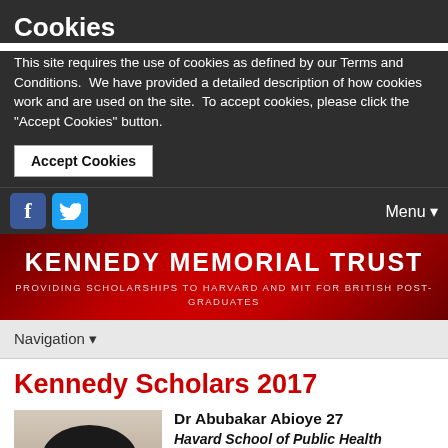Cookies
This site requires the use of cookies as defined by our Terms and Conditions.  We have provided a detailed description of how cookies work and are used on the site.  To accept cookies, please click the "Accept Cookies" button.
Accept Cookies
[Figure (screenshot): Navigation bar with Facebook and Twitter social icons on the left and Menu dropdown on the right, on dark background]
KENNEDY MEMORIAL TRUST
PROVIDING SCHOLARSHIPS TO HARVARD AND MIT FOR BRITISH POST-GRADUATES
Navigation ▼
Kennedy Scholars 2017
[Figure (photo): Photo of Dr Abubakar Abioye, showing dark hair/head]
Dr Abubakar Abioye 27
Havard School of Public Health